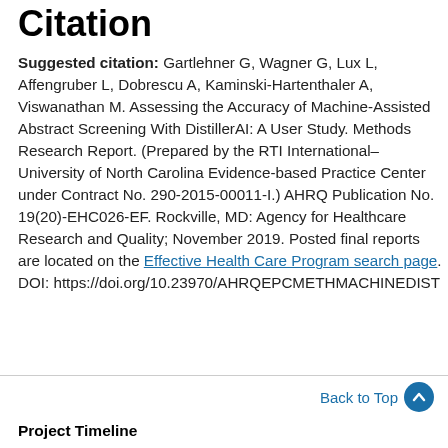Citation
Suggested citation: Gartlehner G, Wagner G, Lux L, Affengruber L, Dobrescu A, Kaminski-Hartenthaler A, Viswanathan M. Assessing the Accuracy of Machine-Assisted Abstract Screening With DistillerAI: A User Study. Methods Research Report. (Prepared by the RTI International–University of North Carolina Evidence-based Practice Center under Contract No. 290-2015-00011-I.) AHRQ Publication No. 19(20)-EHC026-EF. Rockville, MD: Agency for Healthcare Research and Quality; November 2019. Posted final reports are located on the Effective Health Care Program search page. DOI: https://doi.org/10.23970/AHRQEPCMETHMACHINEDIST
Back to Top
Project Timeline